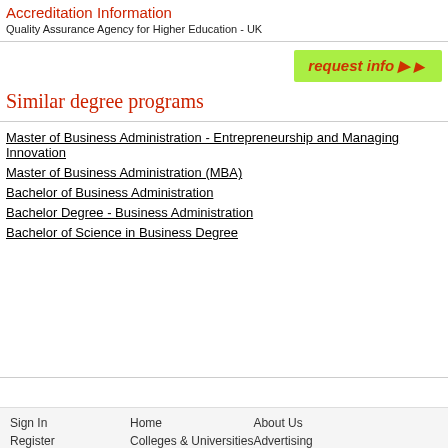Accreditation Information
Quality Assurance Agency for Higher Education - UK
[Figure (other): Green 'request info ▶' button]
Similar degree programs
Master of Business Administration - Entrepreneurship and Managing Innovation
Master of Business Administration (MBA)
Bachelor of Business Administration
Bachelor Degree - Business Administration
Bachelor of Science in Business Degree
Sign In   Home   About Us   Register   Colleges & Universities   Advertising